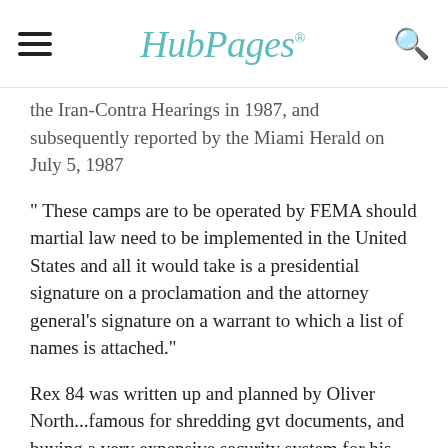HubPages
the Iran-Contra Hearings in 1987, and subsequently reported by the Miami Herald on July 5, 1987
" These camps are to be operated by FEMA should martial law need to be implemented in the United States and all it would take is a presidential signature on a proclamation and the attorney general's signature on a warrant to which a list of names is attached."
Rex 84 was written up and planned by Oliver North...famous for shredding gvt documents, and buying a very expensive security system for his private property with public funds.
Also, ole Uncle Ronnie was known for these quaint sayings: "Welfare Queen", and "We're cutting their allowance"